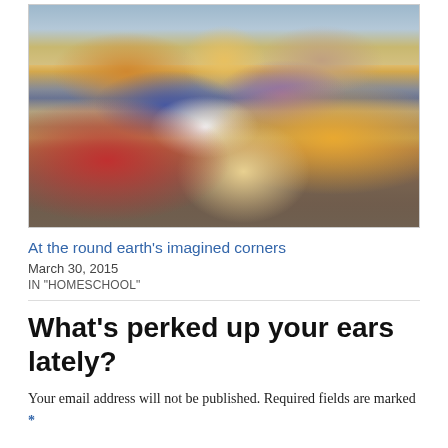[Figure (illustration): A Renaissance-style painting showing multiple angels and figures in colorful robes, with several angelic figures gesturing upward toward a radiant light in the sky, and a crowd of people gathered below.]
At the round earth's imagined corners
March 30, 2015
IN "HOMESCHOOL"
What's perked up your ears lately?
Your email address will not be published. Required fields are marked *